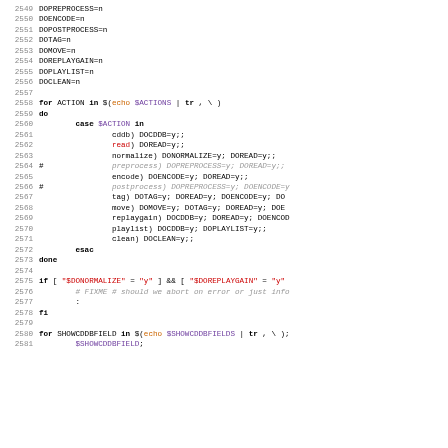[Figure (screenshot): Source code listing showing shell script lines 2549-2581 with syntax highlighting. Keywords in bold black, variables in purple, strings in red, comments in gray italic.]